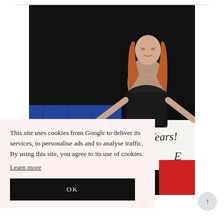[Figure (photo): A woman with long red hair stands against a dark background holding a white banner that reads 'Happy 10 Years!' and a blue fabric. She is wearing a dark top.]
This site uses cookies from Google to deliver its services, to personalise ads and to analyse traffic. By using this site, you agree to its use of cookies.
Learn more
OK